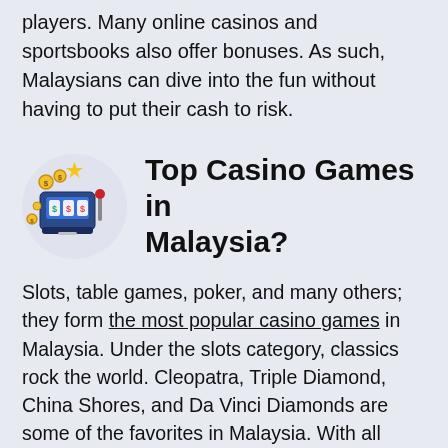players. Many online casinos and sportsbooks also offer bonuses. As such, Malaysians can dive into the fun without having to put their cash to risk.
Top Casino Games in Malaysia?
Slots, table games, poker, and many others; they form the most popular casino games in Malaysia. Under the slots category, classics rock the world. Cleopatra, Triple Diamond, China Shores, and Da Vinci Diamonds are some of the favorites in Malaysia. With all these games coming with easy-to-grasp rules, Malaysians don't have to struggle to understand how they work and how to play them.
Slots, especially progressive jackpot slots, pay more money than any other casino game. Mega Fortune and Mega Moolah, for instance, have a reputation for